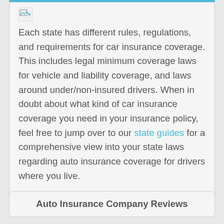Each state has different rules, regulations, and requirements for car insurance coverage. This includes legal minimum coverage laws for vehicle and liability coverage, and laws around under/non-insured drivers. When in doubt about what kind of car insurance coverage you need in your insurance policy, feel free to jump over to our state guides for a comprehensive view into your state laws regarding auto insurance coverage for drivers where you live.
Auto Insurance Company Reviews